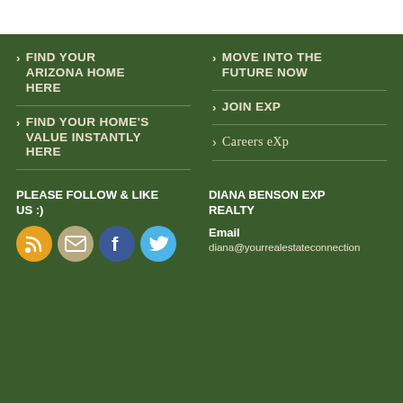> FIND YOUR ARIZONA HOME HERE
> FIND YOUR HOME'S VALUE INSTANTLY HERE
> MOVE INTO THE FUTURE NOW
> JOIN EXP
> Careers eXp
PLEASE FOLLOW & LIKE US :)
DIANA BENSON EXP REALTY
Email
diana@yourrealestateconnection